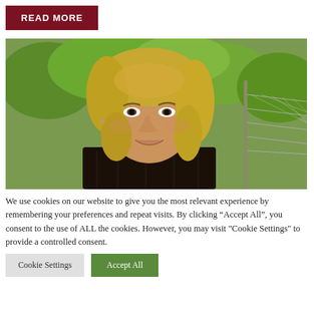READ MORE
[Figure (photo): Portrait photo of a woman with blonde curly hair, smiling, wearing a black sheer top, standing outdoors with green foliage and a wire fence in the background.]
We use cookies on our website to give you the most relevant experience by remembering your preferences and repeat visits. By clicking “Accept All”, you consent to the use of ALL the cookies. However, you may visit "Cookie Settings" to provide a controlled consent.
Cookie Settings
Accept All